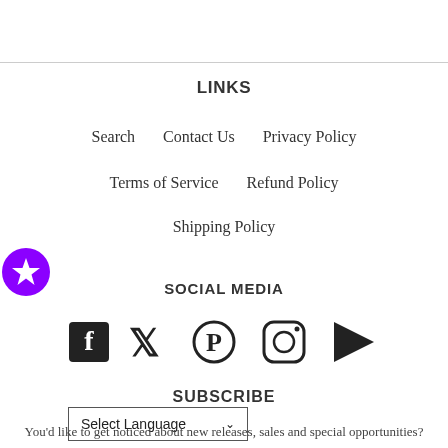LINKS
Search
Contact Us
Privacy Policy
Terms of Service
Refund Policy
Shipping Policy
[Figure (logo): Purple circle badge with white star icon]
SOCIAL MEDIA
[Figure (infographic): Social media icons: Facebook, Twitter, Pinterest, Instagram, YouTube]
SUBSCRIBE
Select Language (dropdown)
You'd like to get noticed about new releases, sales and special opportunities?